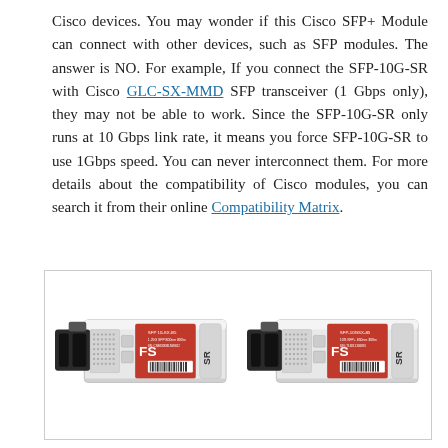Cisco devices. You may wonder if this Cisco SFP+ Module can connect with other devices, such as SFP modules. The answer is NO. For example, If you connect the SFP-10G-SR with Cisco GLC-SX-MMD SFP transceiver (1 Gbps only), they may not be able to work. Since the SFP-10G-SR only runs at 10 Gbps link rate, it means you force SFP-10G-SR to use 1Gbps speed. You can never interconnect them. For more details about the compatibility of Cisco modules, you can search it from their online Compatibility Matrix.
[Figure (photo): Two SFP+ transceiver modules side by side. Left module labeled 'SFP 10-SX-B5' with FS branding and SR label. Right module labeled 'SFP-10GSX-85' with FS branding and SR label. Both are silver/grey with red label sections.]